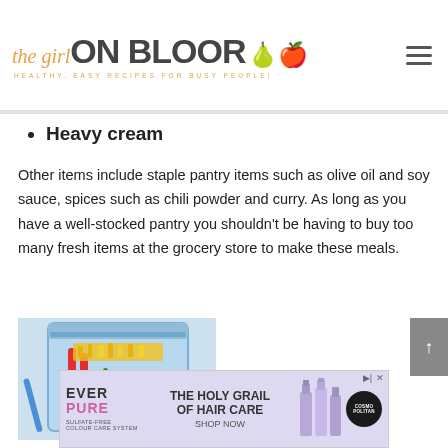the girl ON BLOOR — HEALTHY, EASY RECIPES FOR BUSY PEOPLE!
Heavy cream
Other items include staple pantry items such as olive oil and soy sauce, spices such as chili powder and curry. As long as you have a well-stocked pantry you shouldn't be having to buy too many fresh items at the grocery store to make these meals.
[Figure (photo): Food in a zip-lock bag on a blue background — appears to show colorful vegetables and shredded cheese]
[Figure (infographic): Advertisement banner: EverPure – The Holy Grail of Hair Care, Shop Now (Cosmopolitan), hair product bottles shown]